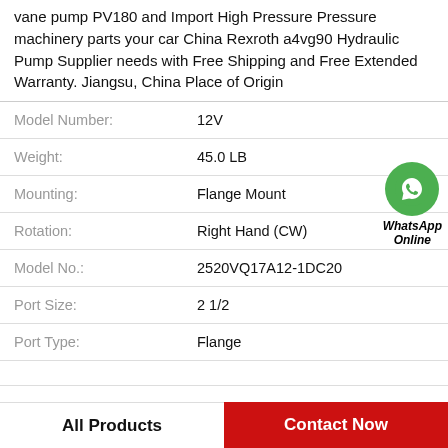vane pump PV180 and Import High Pressure Pressure machinery parts your car China Rexroth a4vg90 Hydraulic Pump Supplier needs with Free Shipping and Free Extended Warranty. Jiangsu, China Place of Origin
| Property | Value |
| --- | --- |
| Model Number: | 12V |
| Weight: | 45.0 LB |
| Mounting: | Flange Mount |
| Rotation: | Right Hand (CW) |
| Model No.: | 2520VQ17A12-1DC20 |
| Port Size: | 2 1/2 |
| Port Type: | Flange |
| (partially visible) | (partially visible) |
[Figure (logo): WhatsApp Online green circle icon with phone handset, labeled WhatsApp Online in italic bold text]
All Products
Contact Now